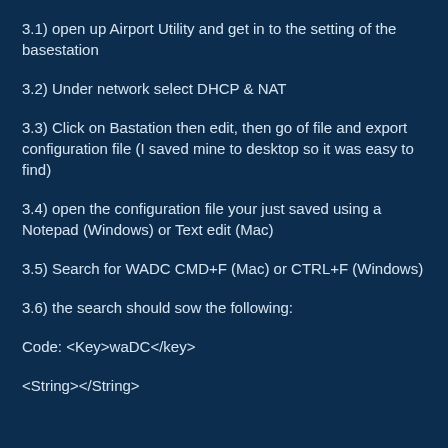3.1) open up Airport Utility and get in to the setting of the basestation
3.2) Under network select DHCP & NAT
3.3) Click on Bastation then edit, then go of file and export configuration file (I saved mine to desktop so it was easy to find)
3.4) open the configuration file your just saved using a Notepad (Windows) or Text edit (Mac)
3.5) Search for WADC CMD+F (Mac) or CTRL+F (Windows)
3.6) the search should sow the following:
Code: <Key>waDC</key>
<String></String>